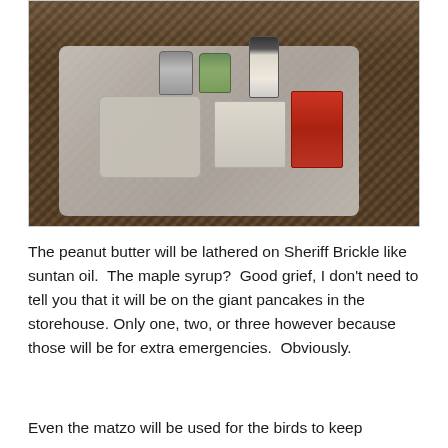[Figure (photo): Photo of items on a coffee table on a patterned rug: jars, a bottle of syrup, a bag of what appears to be matzo/crackers, a dog-shaped box, and a red box/package.]
The peanut butter will be lathered on Sheriff Brickle like suntan oil.  The maple syrup?  Good grief, I don't need to tell you that it will be on the giant pancakes in the storehouse. Only one, two, or three however because those will be for extra emergencies.  Obviously.
Even the matzo will be used for the birds to keep